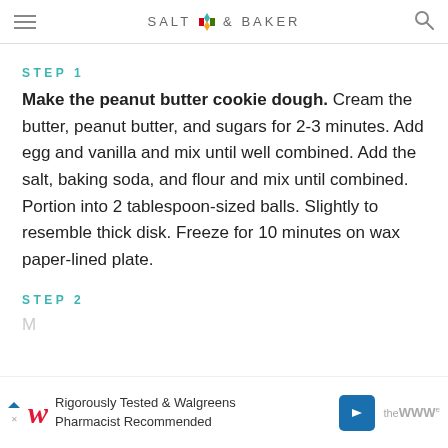SALT & BAKER
STEP 1
Make the peanut butter cookie dough. Cream the butter, peanut butter, and sugars for 2-3 minutes. Add egg and vanilla and mix until well combined. Add the salt, baking soda, and flour and mix until combined. Portion into 2 tablespoon-sized balls. Slightly to resemble thick disk. Freeze for 10 minutes on wax paper-lined plate.
STEP 2
[Figure (other): Advertisement banner: Walgreens - Rigorously Tested & Walgreens Pharmacist Recommended]